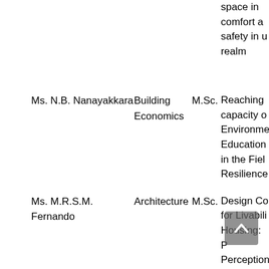| Name | Department | Degree | Thesis Title |
| --- | --- | --- | --- |
| Ms. N.B. Nanayakkara | Building Economics | M.Sc. | Reaching capacity of Environmental Education in the Field Resilience |
| Ms. M.R.S.M. Fernando | Architecture | M.Sc. | Design Co for Livabili Housing: P Perception Evaluation Housing in Lanka |
| Mr. P.G. Fernando | Building Economics | PhD | A Study o Regulatory for Enterta Unsolicite |